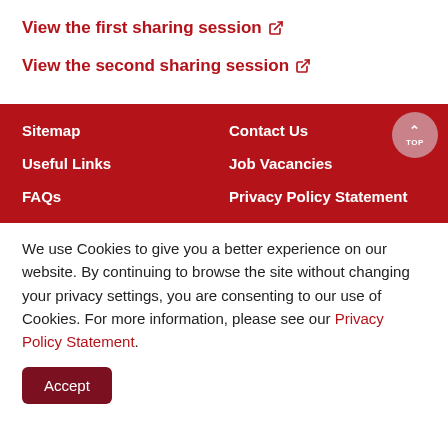View the first sharing session ↗
View the second sharing session ↗
Sitemap | Contact Us | Useful Links | Job Vacancies | FAQs | Privacy Policy Statement
We use Cookies to give you a better experience on our website. By continuing to browse the site without changing your privacy settings, you are consenting to our use of Cookies. For more information, please see our Privacy Policy Statement.
Accept